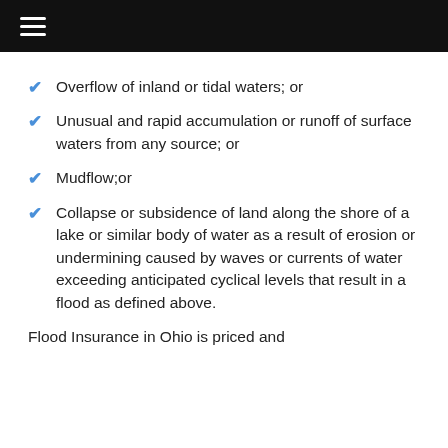≡
Overflow of inland or tidal waters; or
Unusual and rapid accumulation or runoff of surface waters from any source; or
Mudflow;or
Collapse or subsidence of land along the shore of a lake or similar body of water as a result of erosion or undermining caused by waves or currents of water exceeding anticipated cyclical levels that result in a flood as defined above.
Flood Insurance in Ohio is priced and